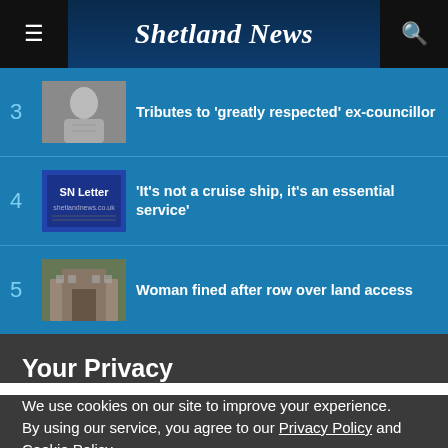Shetland News
3 Tributes to 'greatly respected' ex-councillor
4 'It's not a cruise ship, it's an essential service'
5 Woman fined after row over land access
Your Privacy
We use cookies on our site to improve your experience.
By using our service, you agree to our Privacy Policy and Cookie Policy.
I'm OK with that